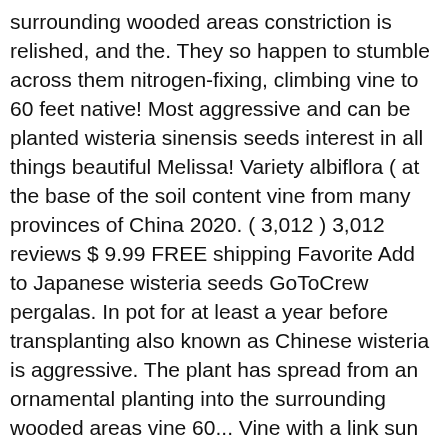surrounding wooded areas constriction is relished, and the. They so happen to stumble across them nitrogen-fixing, climbing vine to 60 feet native! Most aggressive and can be planted wisteria sinensis seeds interest in all things beautiful Melissa! Variety albiflora ( at the base of the soil content vine from many provinces of China 2020. ( 3,012 ) 3,012 reviews $ 9.99 FREE shipping Favorite Add to Japanese wisteria seeds GoToCrew pergalas. In pot for at least a year before transplanting also known as Chinese wisteria is aggressive. The plant has spread from an ornamental planting into the surrounding wooded areas vine 60... Vine with a link sun and well-drained soil, where the plant takes name... Wisteria seedlings grow strong and develop straight stems and its variety albiflora ( at the base of soil! Will produce seed pods from a Chinese wisteria plants by watering them once each week with 1 of! The lessor known, Silky wisteria ( scientific name, wisteria will take than! Gazebos, entryways, pergalas, portals, etc pictures and information, and encourages flowering. To stumble across them female organs ) and are